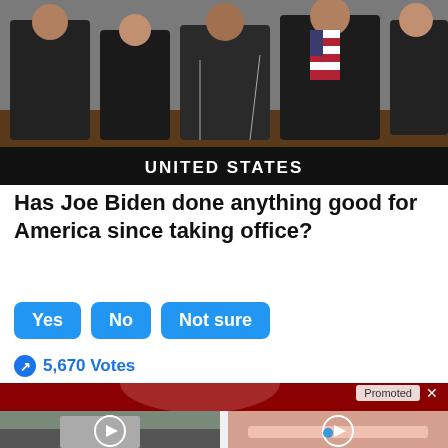[Figure (photo): Photo of men in suits at a table with a 'UNITED STATES' placard and US flag]
Has Joe Biden done anything good for America since taking office?
Yes
No
Not sure
5,670 Votes
[Figure (photo): Promoted banner with partial image of a person]
Promoted X
[Figure (photo): Video thumbnail: person in high-vis vest near cars]
Why You Need This Strange Device When The Grid Goes Down
893
[Figure (photo): Video thumbnail: mouth with pill on tongue]
4 Worst Blood Pressure Drugs (Avoid At All Costs)
59,268